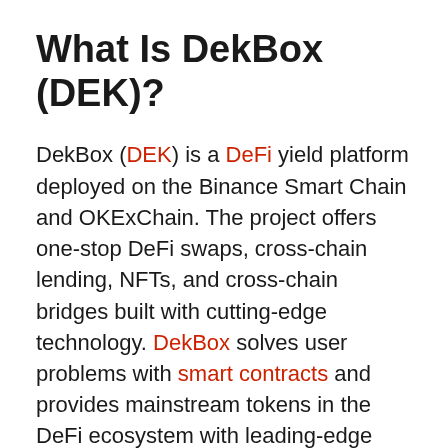What Is DekBox (DEK)?
DekBox (DEK) is a DeFi yield platform deployed on the Binance Smart Chain and OKExChain. The project offers one-stop DeFi swaps, cross-chain lending, NFTs, and cross-chain bridges built with cutting-edge technology. DekBox solves user problems with smart contracts and provides mainstream tokens in the DeFi ecosystem with leading-edge tech.
DekBox is the first DeFi yield platform established and launched by the global community, DeFi Developers Alliance, in December 2020. The creators are attempting to make DeFi more attractive to the public by